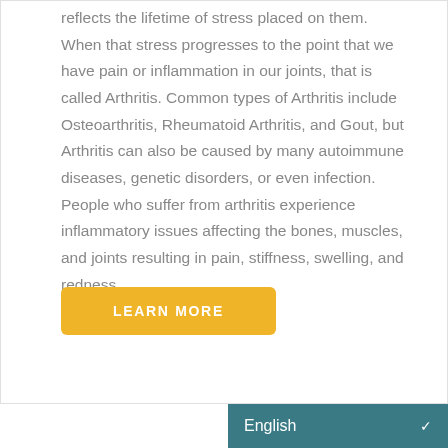reflects the lifetime of stress placed on them. When that stress progresses to the point that we have pain or inflammation in our joints, that is called Arthritis. Common types of Arthritis include Osteoarthritis, Rheumatoid Arthritis, and Gout, but Arthritis can also be caused by many autoimmune diseases, genetic disorders, or even infection. People who suffer from arthritis experience inflammatory issues affecting the bones, muscles, and joints resulting in pain, stiffness, swelling, and redness.
Learn More
English